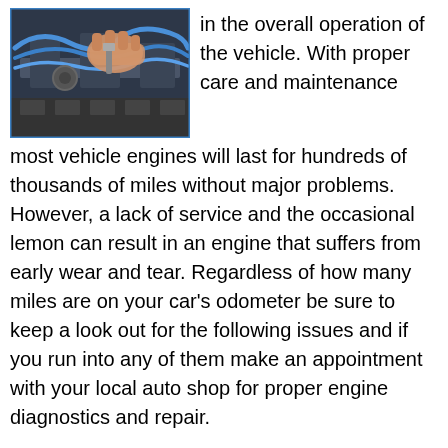[Figure (photo): A mechanic's hands working on a car engine, with blue cables/wires visible, photographed from above.]
in the overall operation of the vehicle. With proper care and maintenance most vehicle engines will last for hundreds of thousands of miles without major problems. However, a lack of service and the occasional lemon can result in an engine that suffers from early wear and tear. Regardless of how many miles are on your car's odometer be sure to keep a look out for the following issues and if you run into any of them make an appointment with your local auto shop for proper engine diagnostics and repair.
Knocking Noise